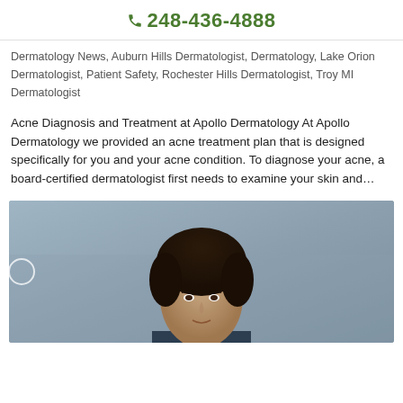☎ 248-436-4888
Dermatology News, Auburn Hills Dermatologist, Dermatology, Lake Orion Dermatologist, Patient Safety, Rochester Hills Dermatologist, Troy MI Dermatologist
Acne Diagnosis and Treatment at Apollo Dermatology At Apollo Dermatology we provided an acne treatment plan that is designed specifically for you and your acne condition. To diagnose your acne, a board-certified dermatologist first needs to examine your skin and…
[Figure (photo): Photo of a person (doctor/dermatologist) against a gray background, cropped to show head and upper torso. A partial circle/button element is visible on the left edge.]